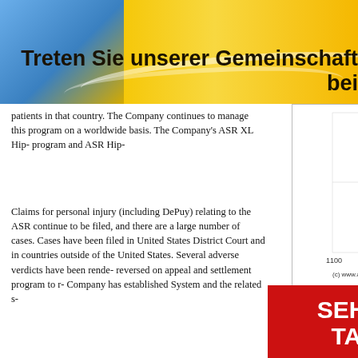[Figure (infographic): Yellow and blue gradient banner with text 'Treten Sie unserer Gemeinschaft bei']
patients in that country. The Company continues to manage this program on a worldwide basis. The Company's ASR XL Hip-program and ASR Hip-
[Figure (continuous-plot): Stock price chart from advfn.com showing a steep drop from around 170 to 168 range, with x-axis values 1100-2100 and y-axis 168-167]
Claims for personal injury (including DePuy) relating to the ASR continue to be filed, and there are a large number of cases. Cases have been filed in United States District Court and in countries outside of the United States. Several adverse verdicts have been rendered, reversed on appeal and settlement program to resolve Company has established System and the related
[Figure (infographic): Red advertisement banner with white text: 'SEHEN SIE ES. TAUSCH ES!' and subtext 'Mehrere Aktienkurse auf einer Seite anzeigen' and 'Leicht anpassbare']
Claims for personal injury Ethicon's pelvic mesh continues to receive information United States had been District of West Virginia remanded cases for trial